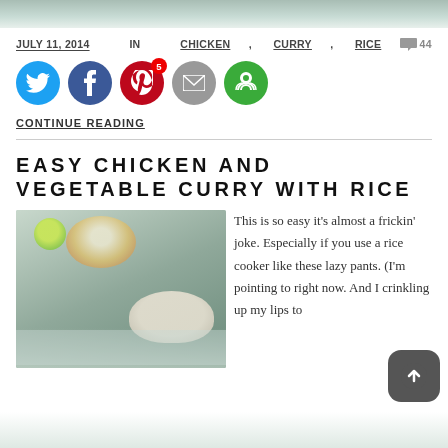[Figure (photo): Partial top image of food/chicken curry dish]
JULY 11, 2014 IN CHICKEN, CURRY, RICE  💬 44
[Figure (infographic): Social media share buttons: Twitter, Facebook, Pinterest (badge 5), Email, Share]
CONTINUE READING
EASY CHICKEN AND VEGETABLE CURRY WITH RICE
[Figure (photo): Photo of chicken and vegetable curry with rice in a bowl, with lime and fork visible]
This is so easy it's almost a frickin' joke. Especially if you use a rice cooker like these lazy pants. (I'm pointing to right now. And I crinkling up my lips to